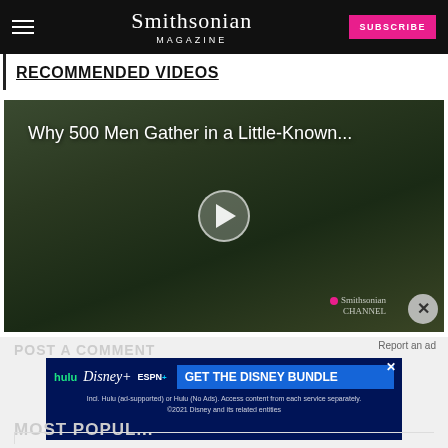Smithsonian Magazine | SUBSCRIBE
RECOMMENDED VIDEOS
[Figure (screenshot): Video thumbnail showing 'Why 500 Men Gather in a Little-Known...' with a play button overlay on a dark forest/nature background. Smithsonian Channel logo visible at bottom right with a close (X) button.]
POST A COMMENT
Report an ad
[Figure (screenshot): Disney Bundle advertisement banner. Shows Hulu, Disney+, ESPN+ logos with text 'GET THE DISNEY BUNDLE'. Fine print: 'Incl. Hulu (ad-supported) or Hulu (No Ads). Access content from each service separately. ©2021 Disney and its related entities']
MOST POPULAR